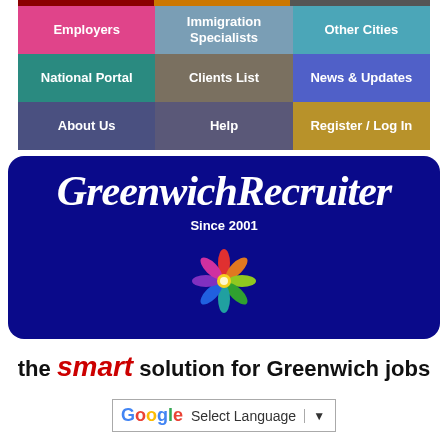[Figure (screenshot): Navigation grid with 9 colored menu cells: Employers (pink), Immigration Specialists (slate blue), Other Cities (teal), National Portal (dark teal), Clients List (olive), News & Updates (blue), About Us (dark slate), Help (dark slate), Register/Log In (gold)]
GreenwichRecruiter
Since 2001
[Figure (logo): Colorful pinwheel/flower logo with people silhouettes in multiple colors]
the smart solution for Greenwich jobs
[Figure (screenshot): Google Translate widget: G logo, Select Language, dropdown arrow]